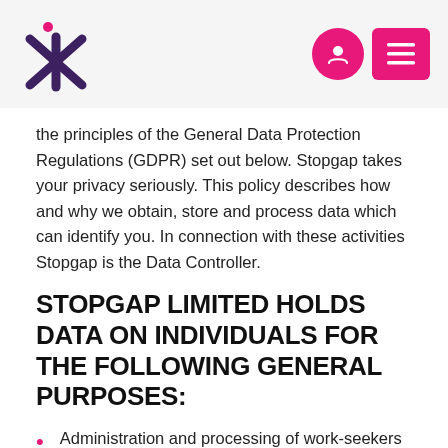Stopgap logo and navigation buttons
the principles of the General Data Protection Regulations (GDPR) set out below. Stopgap takes your privacy seriously. This policy describes how and why we obtain, store and process data which can identify you. In connection with these activities Stopgap is the Data Controller.
STOPGAP LIMITED HOLDS DATA ON INDIVIDUALS FOR THE FOLLOWING GENERAL PURPOSES:
Administration and processing of work-seekers personal data for the purposes of work-finding services